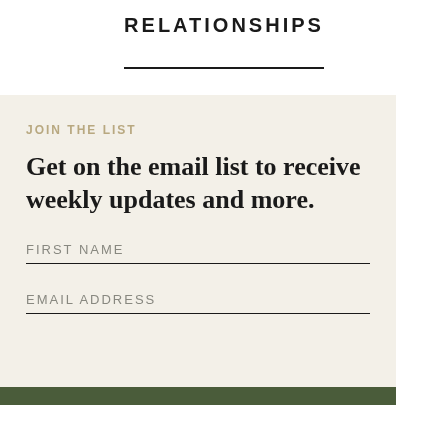RELATIONSHIPS
JOIN THE LIST
Get on the email list to receive weekly updates and more.
FIRST NAME
EMAIL ADDRESS